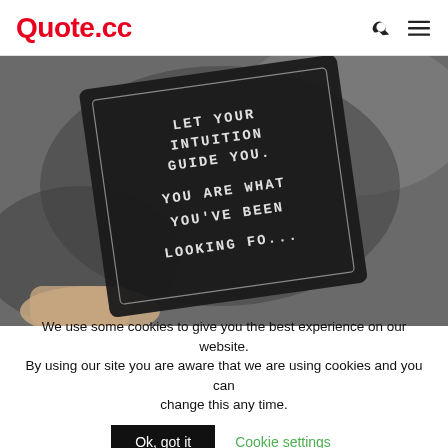Quote.cc
[Figure (photo): A hand holding a dark card with white hand-lettered text reading: LET YOUR INTUITION GUIDE YOU. YOU ARE WHAT YOU'VE BEEN LOOKING FOR...]
We use some cookies to give you the best experience on our website. By using our site you are aware that we are using cookies and you can change this any time. Ok, got it  Cookie settings